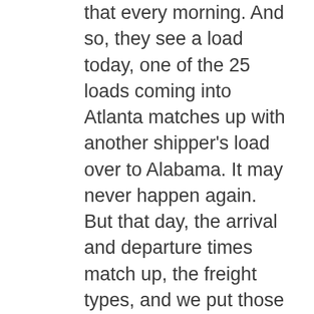that every morning. And so, they see a load today, one of the 25 loads coming into Atlanta matches up with another shipper's load over to Alabama. It may never happen again. But that day, the arrival and departure times match up, the freight types, and we put those together every day, all day with over a hundred shippers. We also have the partial load matching. We've been building our own LTL pool network, so we have well over a billion in LTL freight. We're building collaborative pools like Chicago to Texas to Laredo, Chicago to California. And then we may see